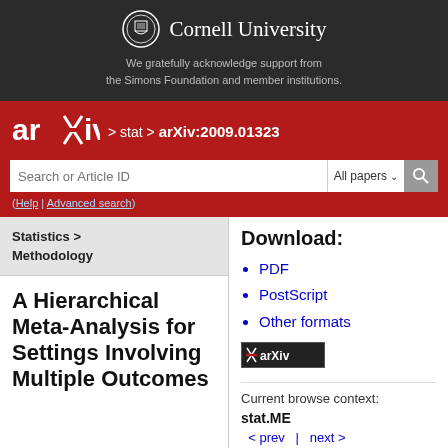[Figure (logo): Cornell University logo with shield and text on dark background]
We gratefully acknowledge support from the Simons Foundation and member institutions.
[Figure (logo): arXiv logo on red background with navigation path > stat > arXiv:2009.01323]
> stat > arXiv:2009.01323
Search or Article ID  All papers
(Help | Advanced search)
Statistics > Methodology
A Hierarchical Meta-Analysis for Settings Involving Multiple Outcomes
Download:
PDF
PostScript
Other formats
Current browse context:
stat.ME
< prev  |   next >
new | recent | 2009
Change to browse by: